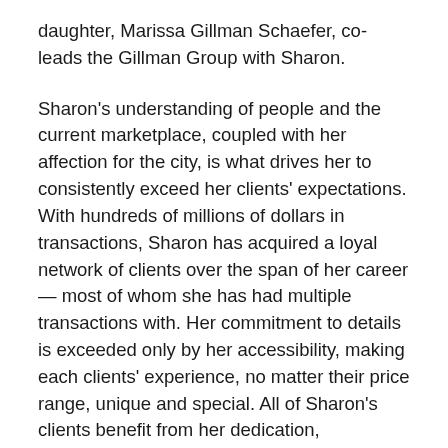daughter, Marissa Gillman Schaefer, co-leads the Gillman Group with Sharon.
Sharon's understanding of people and the current marketplace, coupled with her affection for the city, is what drives her to consistently exceed her clients' expectations. With hundreds of millions of dollars in transactions, Sharon has acquired a loyal network of clients over the span of her career — most of whom she has had multiple transactions with. Her commitment to details is exceeded only by her accessibility, making each clients' experience, no matter their price range, unique and special. All of Sharon's clients benefit from her dedication, perseverance, and her skillful negotiating on their behalf. She has the ability to seamlessly lead her clients through the buying and selling process, as well as arduous design and building construction processes. Consistently part of the Top Agent Network, Top Producers, and in the Top 1% of Chicago agents,